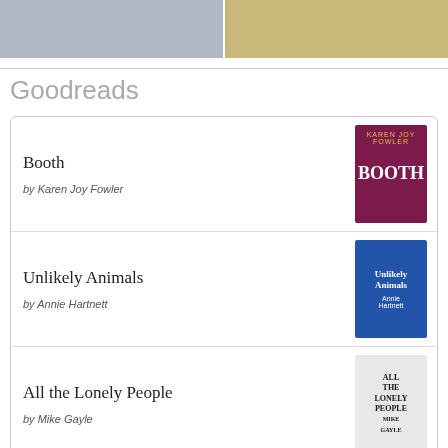[Figure (photo): Two partial photos side by side at top of page: left shows a person with a black cat, right shows a hand holding a book with yellow spine]
Goodreads
Booth by Karen Joy Fowler
Unlikely Animals by Annie Hartnett
All the Lonely People by Mike Gayle
Upgrade by Blake Crouch